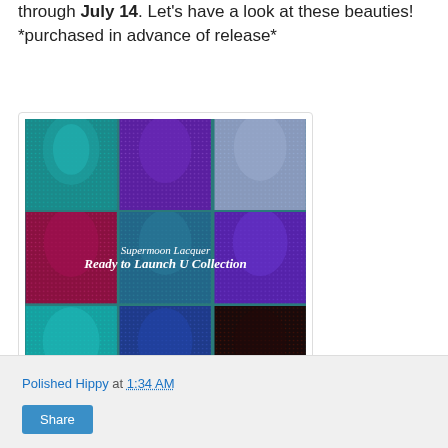through July 14. Let's have a look at these beauties! *purchased in advance of release*
[Figure (photo): Collage of 9 nail polish swatches from Supermoon Lacquer Ready to Launch U Collection, arranged in a 3x3 grid. Colors include teal, purple, blue-grey, magenta, dark teal, dark purple, light teal, blue-purple, and dark brown-black glitter.]
Polished Hippy at 1:34 AM
Share